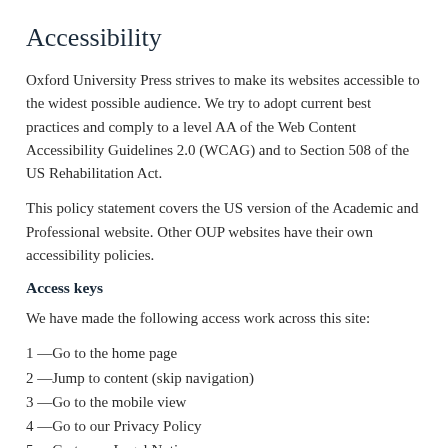Accessibility
Oxford University Press strives to make its websites accessible to the widest possible audience. We try to adopt current best practices and comply to a level AA of the Web Content Accessibility Guidelines 2.0 (WCAG) and to Section 508 of the US Rehabilitation Act.
This policy statement covers the US version of the Academic and Professional website. Other OUP websites have their own accessibility policies.
Access keys
We have made the following access work across this site:
1 —Go to the home page
2 —Jump to content (skip navigation)
3 —Go to the mobile view
4 —Go to our Privacy Policy
5 —Go to our Legal Notice